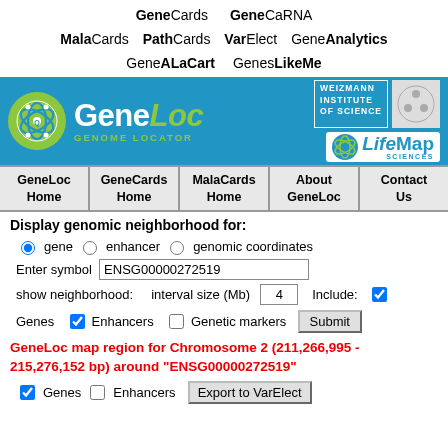GeneCards  GeneCaRNA  MalaCards  PathCards  VarElect  GeneAnalytics  GeneALaCart  GenesLikeMe
[Figure (logo): GeneLocGenome Locator banner with Weizmann Institute of Science and LifeMap Sciences logos on blue background]
GeneLoc Home | GeneCards Home | MalaCards Home | About GeneLoc | Contact Us
Display genomic neighborhood for:
gene  enhancer  genomic coordinates
Enter symbol  ENSG00000272519
show neighborhood:    interval size (Mb)   4    Include:  [checked]  Genes [checked] Enhancers  Genetic markers   Submit
GeneLoc map region for Chromosome 2 (211,266,995 - 215,276,152 bp) around "ENSG00000272519"
Genes  Enhancers   Export to VarElect